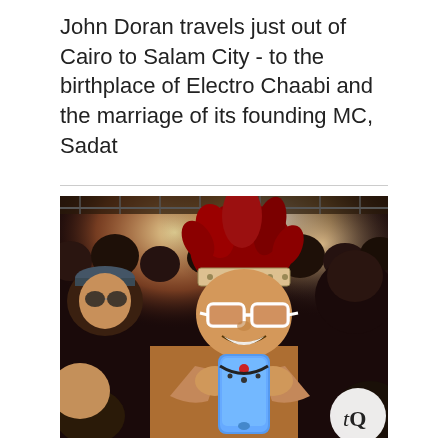John Doran travels just out of Cairo to Salam City - to the birthplace of Electro Chaabi and the marriage of its founding MC, Sadat
[Figure (photo): A person with wild red hair, a patterned headband, and white-framed glasses holding up a blue smartphone at a crowded concert venue. Stage lights glow in the background. A tQ logo watermark appears in the bottom-right corner.]